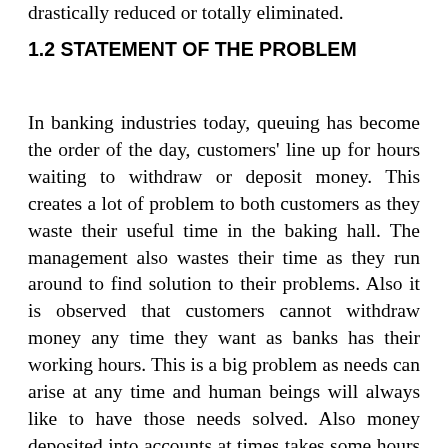drastically reduced or totally eliminated.
1.2 STATEMENT OF THE PROBLEM
In banking industries today, queuing has become the order of the day, customers' line up for hours waiting to withdraw or deposit money. This creates a lot of problem to both customers as they waste their useful time in the baking hall. The management also wastes their time as they run around to find solution to their problems. Also it is observed that customers cannot withdraw money any time they want as banks has their working hours. This is a big problem as needs can arise at any time and human beings will always like to have those needs solved. Also money deposited into accounts at times takes some hours to reflect in the persons account balance hence making banking operations slow and costly for businesses and the economy.